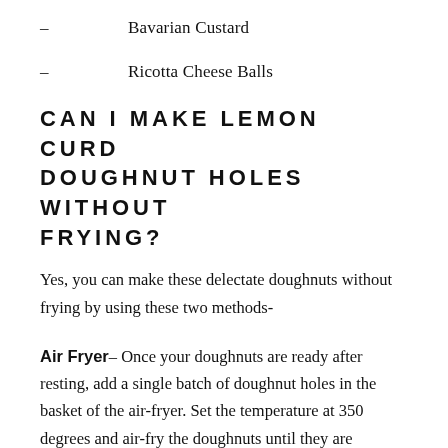– Bavarian Custard
– Ricotta Cheese Balls
CAN I MAKE LEMON CURD DOUGHNUT HOLES WITHOUT FRYING?
Yes, you can make these delectate doughnuts without frying by using these two methods-
Air Fryer– Once your doughnuts are ready after resting, add a single batch of doughnut holes in the basket of the air-fryer. Set the temperature at 350 degrees and air-fry the doughnuts until they are